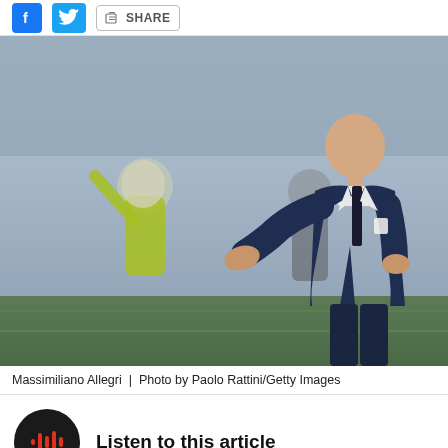[Figure (other): Social share bar with Facebook, Twitter, and Share button icons]
[Figure (photo): Massimiliano Allegri, Juventus manager, gesturing on the touchline in a navy suit, with a yellow-jacketed referee in the background]
Massimiliano Allegri  |  Photo by Paolo Rattini/Getty Images
Listen to this article